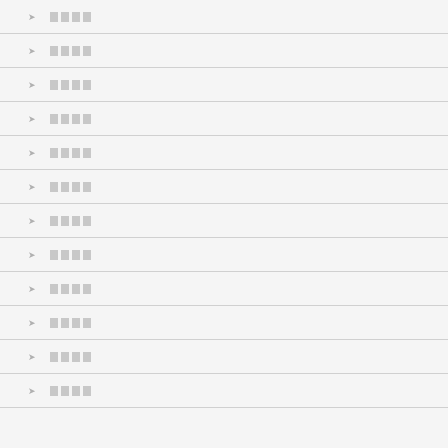▸ ████
▸ ████
▸ ████
▸ ████
▸ ████
▸ ████
▸ ████
▸ ████
▸ ████
▸ ████
▸ ████
▸ ████